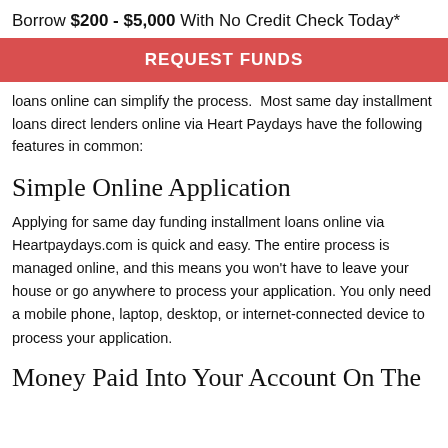Borrow $200 - $5,000 With No Credit Check Today*
REQUEST FUNDS
loans online can simplify the process.  Most same day installment loans direct lenders online via Heart Paydays have the following features in common:
Simple Online Application
Applying for same day funding installment loans online via Heartpaydays.com is quick and easy. The entire process is managed online, and this means you won't have to leave your house or go anywhere to process your application. You only need a mobile phone, laptop, desktop, or internet-connected device to process your application.
Money Paid Into Your Account On The